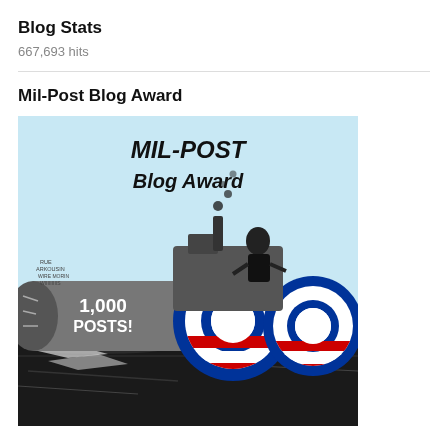Blog Stats
667,693 hits
Mil-Post Blog Award
[Figure (illustration): Political cartoon illustration showing a steamroller/road roller with cylinders labeled '1,000 POSTS!' and Obama campaign logo rings as wheels. Text on image reads 'MIL-POST Blog Award'. A figure sits atop operating the machine, with debris flying. Dark ground below.]